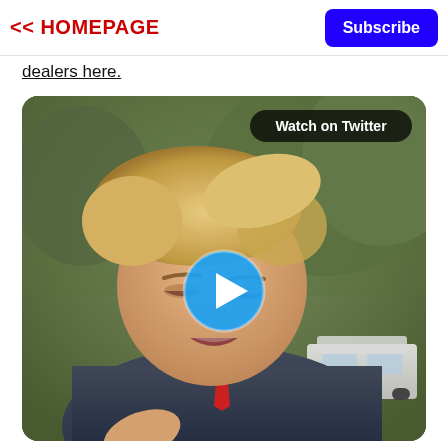<< HOMEPAGE
Subscribe
dealers here.
[Figure (screenshot): Embedded video screenshot showing a man speaking outdoors, with a 'Watch on Twitter' badge in the top-right corner and a blue play button overlay in the center.]